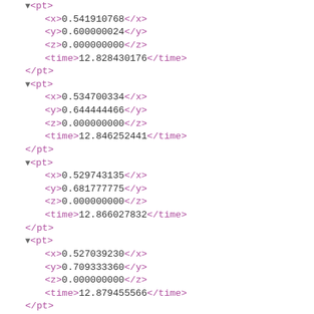XML/structured data showing pt elements with x, y, z coordinates and time values
<pt> x:0.541910768 y:0.600000024 z:0.000000000 time:12.828430176 </pt>
<pt> x:0.534700334 y:0.644444466 z:0.000000000 time:12.846252441 </pt>
<pt> x:0.529743135 y:0.681777775 z:0.000000000 time:12.866027832 </pt>
<pt> x:0.527039230 y:0.709333360 z:0.000000000 time:12.879455566 </pt>
<pt> x:0.525687218 y:0.727111101 z:0.000000000 time:12.895874023 </pt>